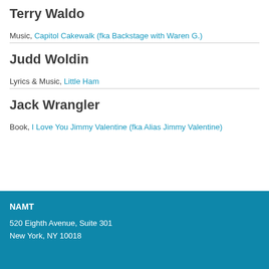Terry Waldo
Music, Capitol Cakewalk (fka Backstage with Waren G.)
Judd Woldin
Lyrics & Music, Little Ham
Jack Wrangler
Book, I Love You Jimmy Valentine (fka Alias Jimmy Valentine)
NAMT
520 Eighth Avenue, Suite 301
New York, NY 10018